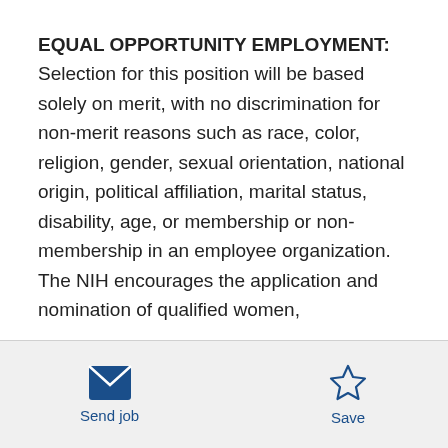EQUAL OPPORTUNITY EMPLOYMENT: Selection for this position will be based solely on merit, with no discrimination for non-merit reasons such as race, color, religion, gender, sexual orientation, national origin, political affiliation, marital status, disability, age, or membership or non-membership in an employee organization.  The NIH encourages the application and nomination of qualified women,
Send job   Save